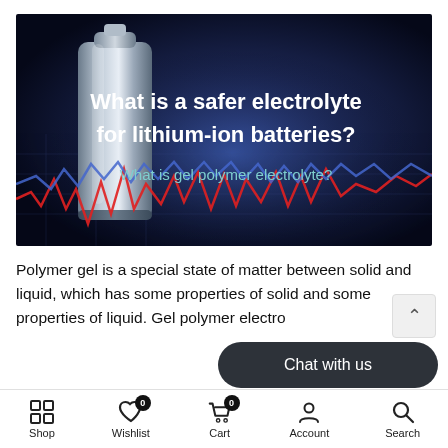[Figure (photo): Dark blue/black background with a metallic lithium-ion battery cell standing upright on the left, and graph chart lines (red and dark blue zigzag lines) in the foreground. White text reads 'What is a safer electrolyte for lithium-ion batteries?' and lighter teal text reads 'What is gel polymer electrolyte?']
Polymer gel is a special state of matter between solid and liquid, which has some properties of solid and some properties of liquid. Gel polymer electro...
Shop  Wishlist 0  Cart 0  Account  Search